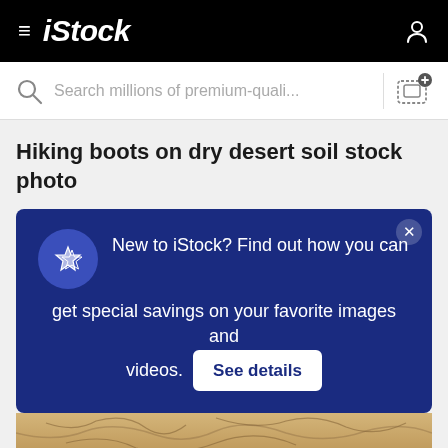≡ iStock
Search millions of premium-quali...
Hiking boots on dry desert soil stock photo
New to iStock? Find out how you can get special savings on your favorite images and videos. See details
[Figure (photo): Partially visible photo of dry cracked desert soil]
$12 | 1 credit
Continue with purchase